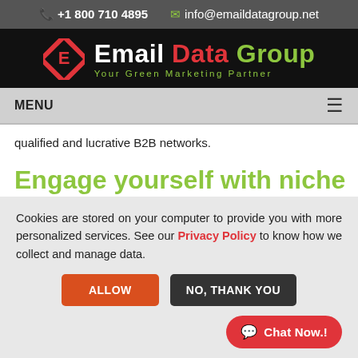+1 800 710 4895  info@emaildatagroup.net
[Figure (logo): Email Data Group logo with red diamond shape and green/white/red text. Tagline: Your Green Marketing Partner]
MENU
qualified and lucrative B2B networks.
Engage yourself with niche companies using
Cookies are stored on your computer to provide you with more personalized services. See our Privacy Policy to know how we collect and manage data.
ALLOW | NO, THANK YOU
Chat Now.!